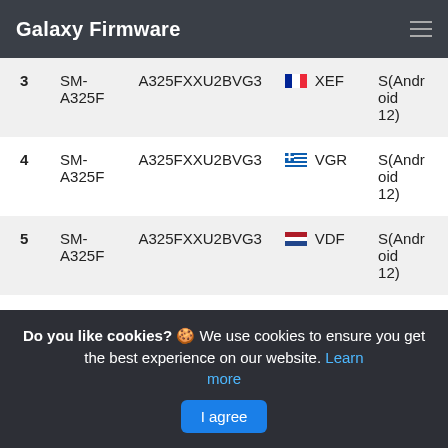Galaxy Firmware
| # | Model | Firmware | Region | OS |
| --- | --- | --- | --- | --- |
| 3 | SM-A325F | A325FXXU2BVG3 | 🇫🇷 XEF | S(Android 12) |
| 4 | SM-A325F | A325FXXU2BVG3 | 🇬🇷 VGR | S(Android 12) |
| 5 | SM-A325F | A325FXXU2BVG3 | 🇳🇱 VDF | S(Android 12) |
Do you like cookies? 🍪 We use cookies to ensure you get the best experience on our website. Learn more  I agree